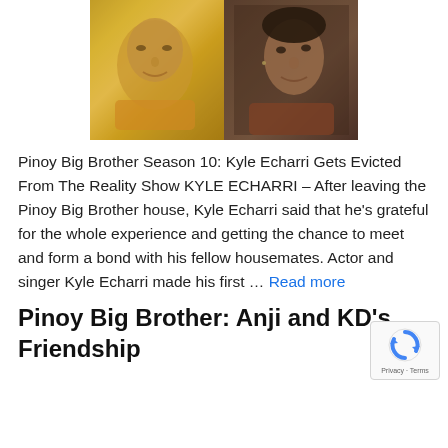[Figure (photo): Two men side by side: left photo shows a man with a warm golden/yellow background, right photo shows a man in a brown/rust shirt against a dark background]
Pinoy Big Brother Season 10: Kyle Echarri Gets Evicted From The Reality Show KYLE ECHARRI – After leaving the Pinoy Big Brother house, Kyle Echarri said that he's grateful for the whole experience and getting the chance to meet and form a bond with his fellow housemates. Actor and singer Kyle Echarri made his first … Read more
Pinoy Big Brother: Anji and KD's Friendship